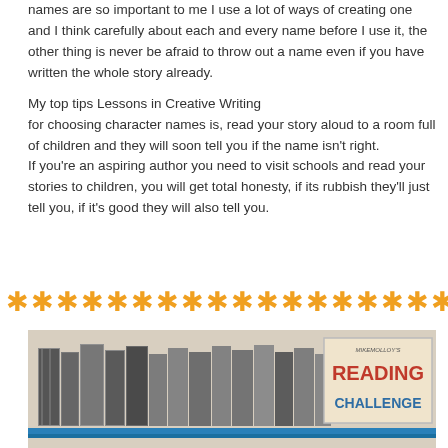names are so important to me I use a lot of ways of creating one and I think carefully about each and every name before I use it, the other thing is never be afraid to throw out a name even if you have written the whole story already.

My top tips Lessons in Creative Writing for choosing character names is, read your story aloud to a room full of children and they will soon tell you if the name isn't right.
If you're an aspiring author you need to visit schools and read your stories to children, you will get total honesty, if its rubbish they'll just tell you, if it's good they will also tell you.
[Figure (photo): Photo of books on a shelf with a 'Mike Molloy's Reading Challenge' sign visible on the right side.]